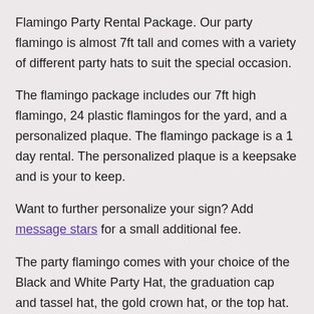Flamingo Party Rental Package. Our party flamingo is almost 7ft tall and comes with a variety of different party hats to suit the special occasion.
The flamingo package includes our 7ft high flamingo, 24 plastic flamingos for the yard, and a personalized plaque. The flamingo package is a 1 day rental. The personalized plaque is a keepsake and is your to keep.
Want to further personalize your sign? Add message stars for a small additional fee.
The party flamingo comes with your choice of the Black and White Party Hat, the graduation cap and tassel hat, the gold crown hat, or the top hat. Of course, for a graduation party lets use the graduation cap and tassel.
Our party flamingo lawn sign loves to be the life of the party. Get